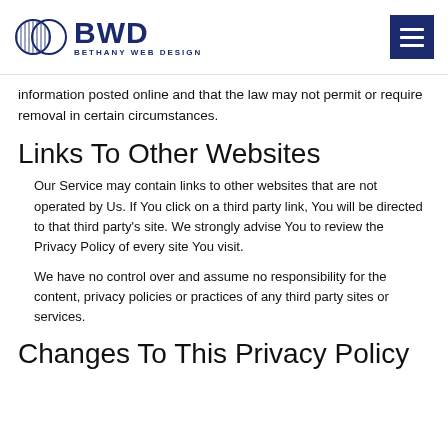BWD BETHANY WEB DESIGN
information posted online and that the law may not permit or require removal in certain circumstances.
Links To Other Websites
Our Service may contain links to other websites that are not operated by Us. If You click on a third party link, You will be directed to that third party’s site. We strongly advise You to review the Privacy Policy of every site You visit.
We have no control over and assume no responsibility for the content, privacy policies or practices of any third party sites or services.
Changes To This Privacy Policy